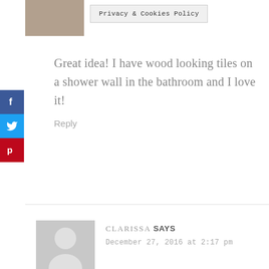[Figure (photo): Partial photo of a person at top left]
Privacy & Cookies Policy
Great idea! I have wood looking tiles on a shower wall in the bathroom and I love it!
Reply
[Figure (photo): Grey avatar placeholder silhouette for commenter Clarissa]
CLARISSA SAYS
December 27, 2016 at 2:17 pm